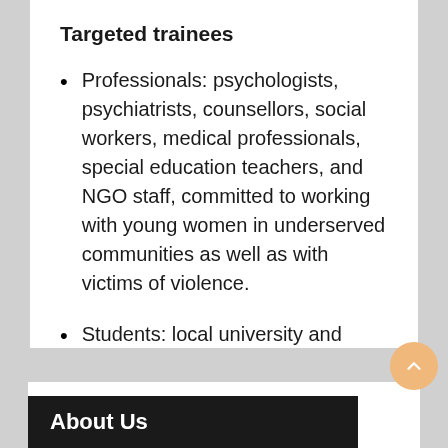Targeted trainees
Professionals: psychologists, psychiatrists, counsellors, social workers, medical professionals, special education teachers, and NGO staff, committed to working with young women in underserved communities as well as with victims of violence.
Students: local university and other students in mental health related fields.
About Us